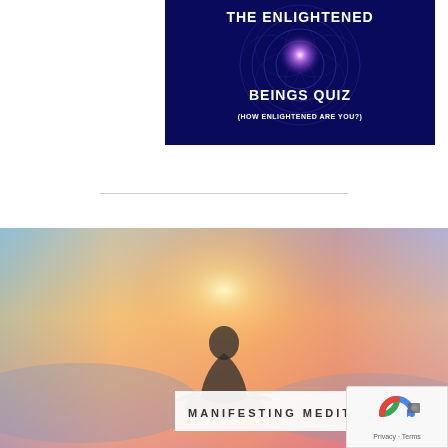[Figure (other): The Enlightened Beings Quiz banner image with dark blue background, geometric sacred geometry patterns, glowing purple orb in center, white bold text reading 'THE ENLIGHTENED BEINGS QUIZ (HOW ENLIGHTENED ARE YOU?)']
[Figure (photo): Meditation image showing silhouette of a person meditating in lotus position against a warm sunset sky with orange, pink, and blue hues. White banner overlay reads 'MANIFESTING MEDITATIONS' in spaced capital letters.]